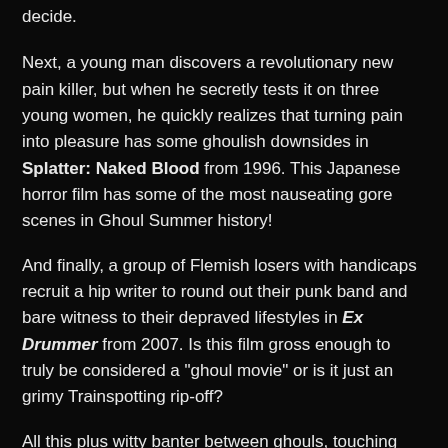decide.
Next, a young man discovers a revolutionary new pain killer, but when he secretly tests it on three young women, he quickly realizes that turning pain into pleasure has some ghoulish downsides in Splatter: Naked Blood from 1996. This Japanese horror film has some of the most nauseating gore scenes in Ghoul Summer history!
And finally, a group of Flemish losers with handicaps recruit a hip writer to round out their punk band and bare witness to their depraved lifestyles in Ex Drummer from 2007. Is this film gross enough to truly be considered a "ghoul movie" or is it just an grimy Trainspotting rip-off?
All this plus witty banter between ghouls, touching Junk Mail, Sean incorrectly claiming ALF was the first alien sitcom, news about dead midgets, ghoul wrestling, serious debates on whether rape is fair fodder for humor, Mike getting queasy